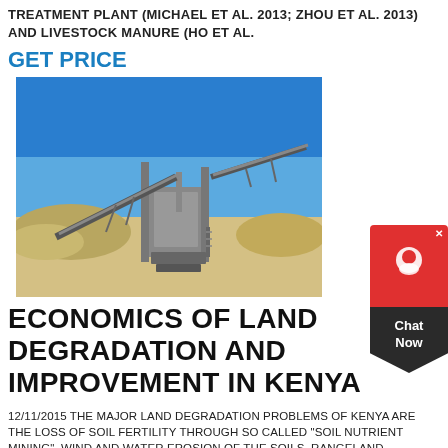TREATMENT PLANT (MICHAEL ET AL. 2013; ZHOU ET AL. 2013) AND LIVESTOCK MANURE (HO ET AL.
GET PRICE
[Figure (photo): Industrial quarry/crushing plant machinery with conveyor belts under a blue sky, surrounded by sand and gravel piles.]
ECONOMICS OF LAND DEGRADATION AND IMPROVEMENT IN KENYA
12/11/2015 THE MAJOR LAND DEGRADATION PROBLEMS OF KENYA ARE THE LOSS OF SOIL FERTILITY THROUGH SO CALLED "SOIL NUTRIENT MINING", WIND AND WATER EROSION OF THE SOILS, RANGELAND DEGRADATION